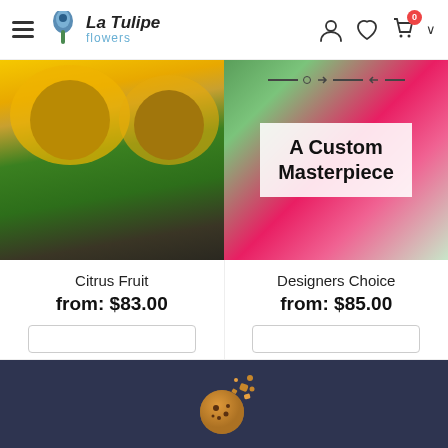La Tulipe Flowers — navigation header with hamburger menu, logo, user icon, wishlist icon, cart icon (badge: 0), chevron
[Figure (photo): Sunflower bouquet in glass vase on dark wood table]
[Figure (photo): Custom floral arrangement with overlay text 'A Custom Masterpiece' and decorative arrow lines]
Citrus Fruit
from: $83.00
Designers Choice
from: $85.00
We use cookies to ensure that we give you the best experience on our website. By continuing to use our site, you accept our Cookie Policy Terms.
Privacy Policy
Accept Cookies